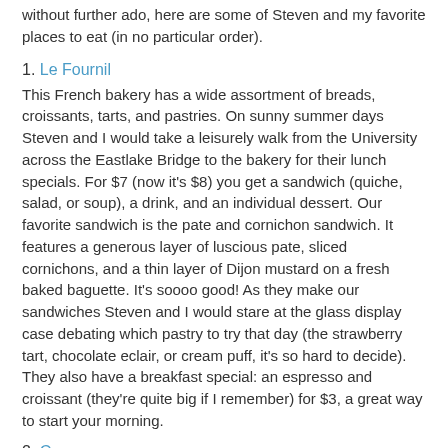without further ado, here are some of Steven and my favorite places to eat (in no particular order).
1. Le Fournil
This French bakery has a wide assortment of breads, croissants, tarts, and pastries. On sunny summer days Steven and I would take a leisurely walk from the University across the Eastlake Bridge to the bakery for their lunch specials. For $7 (now it's $8) you get a sandwich (quiche, salad, or soup), a drink, and an individual dessert. Our favorite sandwich is the pate and cornichon sandwich. It features a generous layer of luscious pate, sliced cornichons, and a thin layer of Dijon mustard on a fresh baked baguette. It's soooo good! As they make our sandwiches Steven and I would stare at the glass display case debating which pastry to try that day (the strawberry tart, chocolate eclair, or cream puff, it's so hard to decide). They also have a breakfast special: an espresso and croissant (they're quite big if I remember) for $3, a great way to start your morning.
2. Campagne